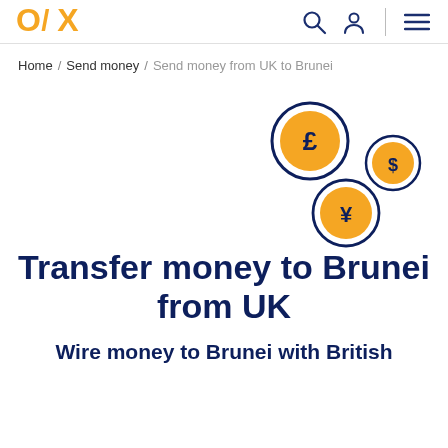OFX [logo] with search, profile, and menu icons
Home / Send money / Send money from UK to Brunei
[Figure (illustration): Three currency coin icons arranged diagonally: a large pound (£) coin top-center, a smaller dollar ($) coin to the right, and a yen (¥) coin below-left. Dark navy circle borders with orange-filled interiors.]
Transfer money to Brunei from UK
Wire money to Brunei with British